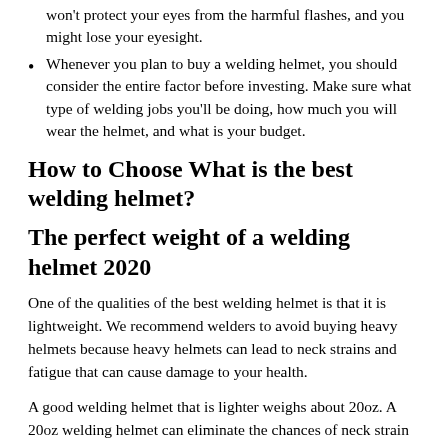won't protect your eyes from the harmful flashes, and you might lose your eyesight.
Whenever you plan to buy a welding helmet, you should consider the entire factor before investing. Make sure what type of welding jobs you'll be doing, how much you will wear the helmet, and what is your budget.
How to Choose What is the best welding helmet?
The perfect weight of a welding helmet 2020
One of the qualities of the best welding helmet is that it is lightweight. We recommend welders to avoid buying heavy helmets because heavy helmets can lead to neck strains and fatigue that can cause damage to your health.
A good welding helmet that is lighter weighs about 20oz. A 20oz welding helmet can eliminate the chances of neck strain issues, and the user can wear the helmet all day and complete their welding task without any interruption. The lighter helmets will be expensive, but if you are a professional welder and you work daily,